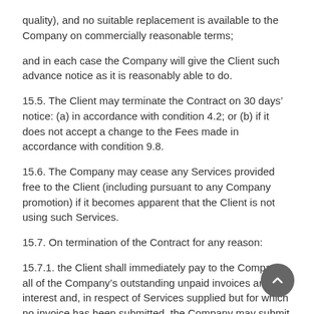quality), and no suitable replacement is available to the Company on commercially reasonable terms;
and in each case the Company will give the Client such advance notice as it is reasonably able to do.
15.5. The Client may terminate the Contract on 30 days’ notice: (a) in accordance with condition 4.2; or (b) if it does not accept a change to the Fees made in accordance with condition 9.8.
15.6. The Company may cease any Services provided free to the Client (including pursuant to any Company promotion) if it becomes apparent that the Client is not using such Services.
15.7. On termination of the Contract for any reason:
15.7.1. the Client shall immediately pay to the Company all of the Company’s outstanding unpaid invoices and interest and, in respect of Services supplied but for which no invoice has been submitted, the Company may submit an invoice, which shall be